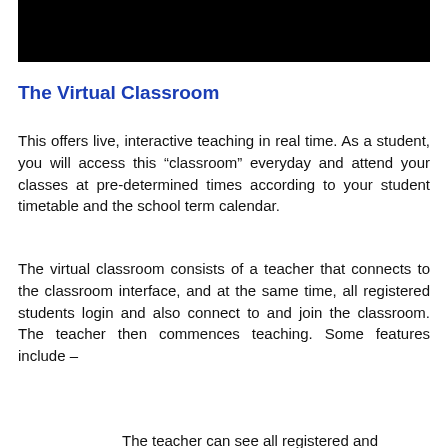[Figure (other): Black rectangle banner at top of page]
The Virtual Classroom
This offers live, interactive teaching in real time. As a student, you will access this “classroom” everyday and attend your classes at pre-determined times according to your student timetable and the school term calendar.
The virtual classroom consists of a teacher that connects to the classroom interface, and at the same time, all registered students login and also connect to and join the classroom. The teacher then commences teaching. Some features include –
The teacher can see all registered and